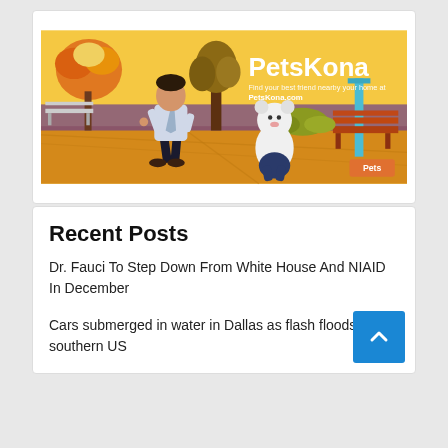[Figure (illustration): PetsKona advertisement banner showing an animated cartoon park scene with an orange/yellow background. A cartoon man in a suit and a white cartoon dog/bear are in a park. Text reads 'PetsKona' in large white bold letters and 'Find your best friend nearby your home at PetsKona.com'. A 'Pets' label tag appears at bottom right.]
Recent Posts
Dr. Fauci To Step Down From White House And NIAID In December
Cars submerged in water in Dallas as flash floods southern US